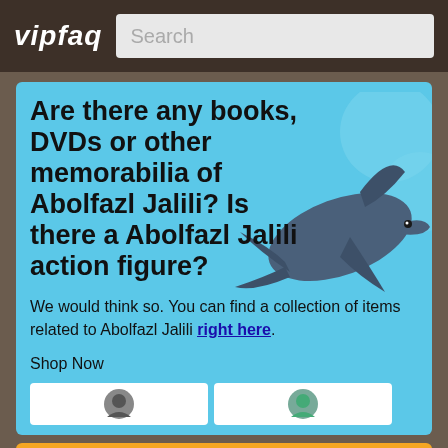vipfaq | Search
Are there any books, DVDs or other memorabilia of Abolfazl Jalili? Is there a Abolfazl Jalili action figure?
We would think so. You can find a collection of items related to Abolfazl Jalili right here.
Shop Now
[Figure (illustration): Cartoon dolphin illustration in dark blue/grey tones on light blue background]
What is Abolfazl Jalili's birth name?